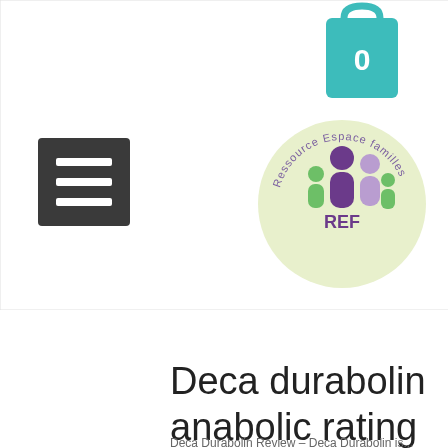[Figure (logo): Website header with hamburger menu button (dark square with 3 white lines), a shopping bag icon with '0', and a circular REF (Ressource Espace familles) logo showing a family icon in purple and green]
Deca durabolin anabolic rating
Deca Durabolin Review – Deca Durabolin is...